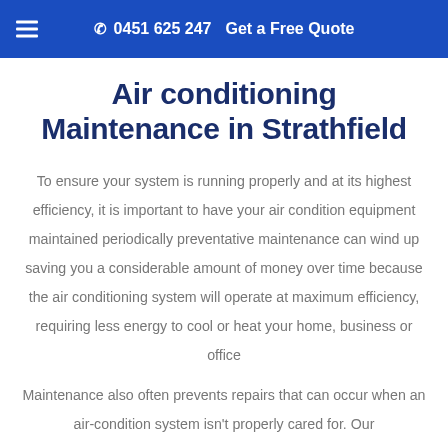☰  ✆ 0451 625 247  Get a Free Quote
Air conditioning Maintenance in Strathfield
To ensure your system is running properly and at its highest efficiency, it is important to have your air condition equipment maintained periodically preventative maintenance can wind up saving you a considerable amount of money over time because the air conditioning system will operate at maximum efficiency, requiring less energy to cool or heat your home, business or office
Maintenance also often prevents repairs that can occur when an air-condition system isn't properly cared for. Our